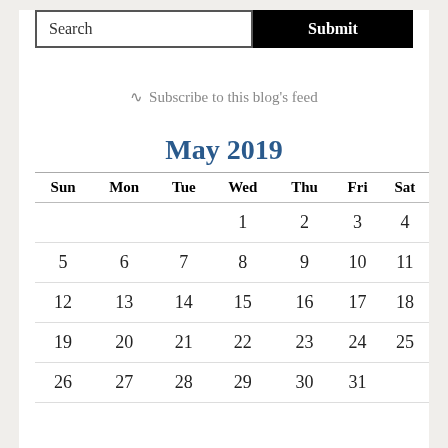Search
Submit
Subscribe to this blog's feed
May 2019
| Sun | Mon | Tue | Wed | Thu | Fri | Sat |
| --- | --- | --- | --- | --- | --- | --- |
|  |  |  | 1 | 2 | 3 | 4 |
| 5 | 6 | 7 | 8 | 9 | 10 | 11 |
| 12 | 13 | 14 | 15 | 16 | 17 | 18 |
| 19 | 20 | 21 | 22 | 23 | 24 | 25 |
| 26 | 27 | 28 | 29 | 30 | 31 |  |